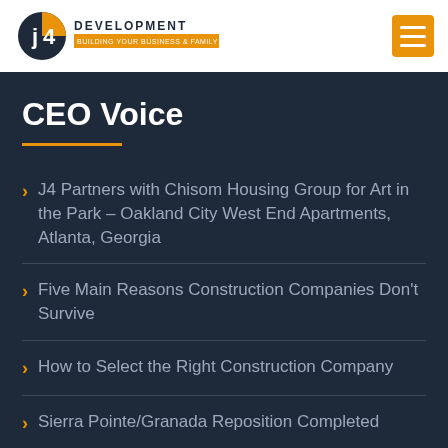J4 Development
CEO Voice
J4 Partners with Chisom Housing Group for Art in the Park – Oakland City West End Apartments, Atlanta, Georgia
Five Main Reasons Construction Companies Don't Survive
How to Select the Right Construction Company
Sierra Pointe/Granada Reposition Completed
Renovations Completed at Radnor Towers